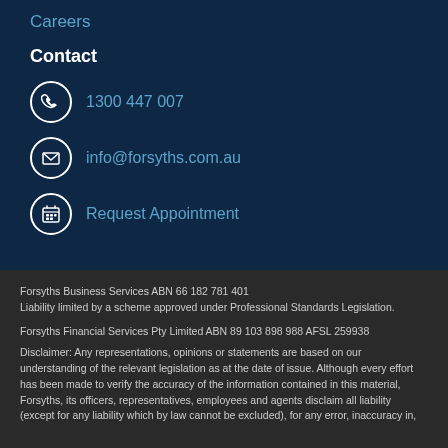Careers
Contact
1300 447 007
info@forsyths.com.au
Request Appointment
Forsyths Business Services ABN 66 182 781 401
Liability limited by a scheme approved under Professional Standards Legislation.
Forsyths Financial Services Pty Limited ABN 89 103 898 988 AFSL 259938
Disclaimer: Any representations, opinions or statements are based on our understanding of the relevant legislation as at the date of issue. Although every effort has been made to verify the accuracy of the information contained in this material, Forsyths, its officers, representatives, employees and agents disclaim all liability (except for any liability which by law cannot be excluded), for any error, inaccuracy in,